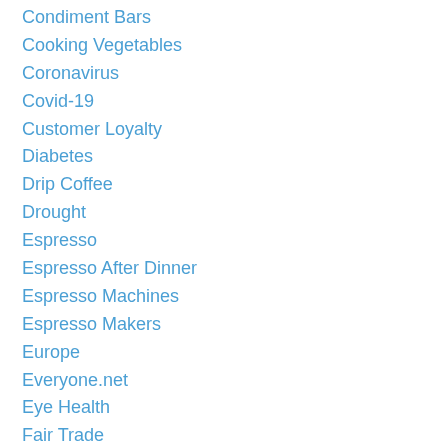Condiment Bars
Cooking Vegetables
Coronavirus
Covid-19
Customer Loyalty
Diabetes
Drip Coffee
Drought
Espresso
Espresso After Dinner
Espresso Machines
Espresso Makers
Europe
Everyone.net
Eye Health
Fair Trade
Fair Trade Coffees
Flu
Free Email
Free Latte
French Press